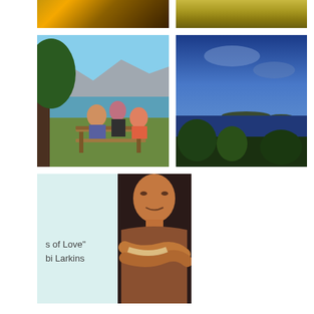[Figure (photo): Two photos partially visible at top: left is a golden/orange textured surface with light rays, right is a dirt road through dry grass landscape]
[Figure (photo): Left: Three people sitting at a wooden bench/table outdoors near a lake with mountains in background. Right: Blue twilight seascape with islands visible in the distance and trees in foreground.]
[Figure (photo): Left: Light blue/mint colored book cover with text 's of Love" bi Larkins'. Right: A painting/portrait of a bald figure with arms crossed, painted in dark realistic style.]